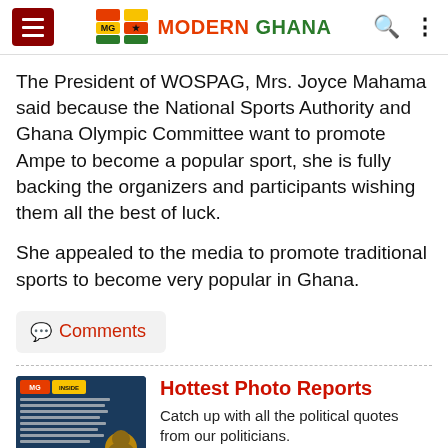Modern Ghana
The President of WOSPAG, Mrs. Joyce Mahama said because the National Sports Authority and Ghana Olympic Committee want to promote Ampe to become a popular sport, she is fully backing the organizers and participants wishing them all the best of luck.
She appealed to the media to promote traditional sports to become very popular in Ghana.
💬 Comments
[Figure (photo): Modern Ghana Inside news thumbnail showing a quote about COVID-19 vaccines with a portrait photo of President Nana Akufo-Addo]
Hottest Photo Reports
Catch up with all the political quotes from our politicians.